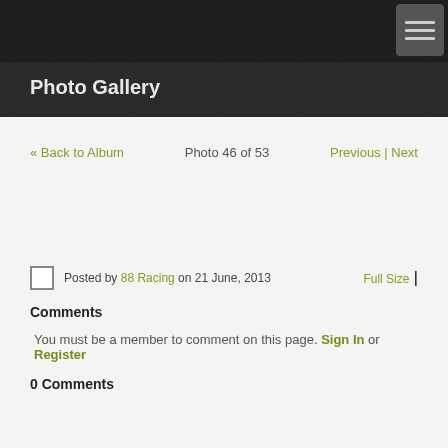Photo Gallery
« Back to Album   Photo 46 of 53   Previous | Next
Posted by 88 Racing on 21 June, 2013   Full Size |
Comments
You must be a member to comment on this page. Sign In or Register
0 Comments